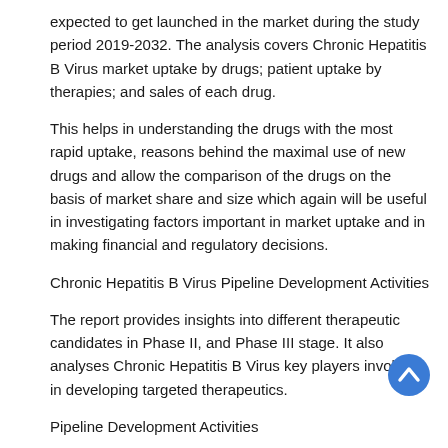expected to get launched in the market during the study period 2019-2032. The analysis covers Chronic Hepatitis B Virus market uptake by drugs; patient uptake by therapies; and sales of each drug.
This helps in understanding the drugs with the most rapid uptake, reasons behind the maximal use of new drugs and allow the comparison of the drugs on the basis of market share and size which again will be useful in investigating factors important in market uptake and in making financial and regulatory decisions.
Chronic Hepatitis B Virus Pipeline Development Activities
The report provides insights into different therapeutic candidates in Phase II, and Phase III stage. It also analyses Chronic Hepatitis B Virus key players involved in developing targeted therapeutics.
Pipeline Development Activities
The report covers the detailed information of collaborations, acquisition and merger, licensing, patent details and other